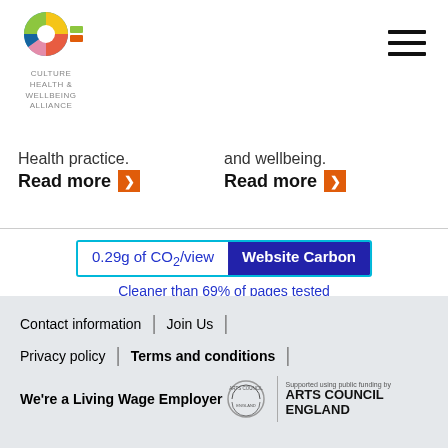[Figure (logo): Culture Health & Wellbeing Alliance logo with colourful abstract symbol]
[Figure (other): Hamburger menu icon (three horizontal lines)]
Health practice.
Read more ▶
and wellbeing.
Read more ▶
[Figure (other): Website Carbon badge showing 0.29g of CO2/view, Cleaner than 69% of pages tested]
Contact information | Join Us | Privacy policy | Terms and conditions | We're a Living Wage Employer | Arts Council England - Supported using public funding by Arts Council England